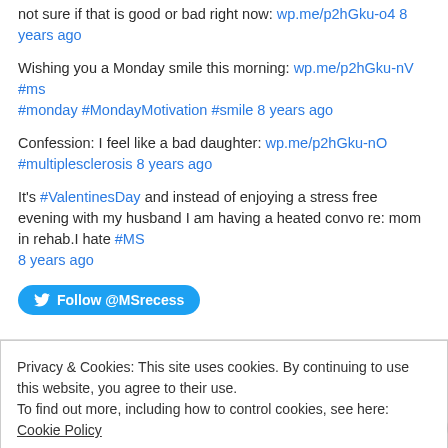not sure if that is good or bad right now: wp.me/p2hGku-o4 8 years ago
Wishing you a Monday smile this morning: wp.me/p2hGku-nV #ms #monday #MondayMotivation #smile 8 years ago
Confession: I feel like a bad daughter: wp.me/p2hGku-nO #multiplesclerosis 8 years ago
It's #ValentinesDay and instead of enjoying a stress free evening with my husband I am having a heated convo re: mom in rehab.I hate #MS 8 years ago
Follow @MSrecess
Privacy & Cookies: This site uses cookies. By continuing to use this website, you agree to their use.
To find out more, including how to control cookies, see here: Cookie Policy
Close and accept